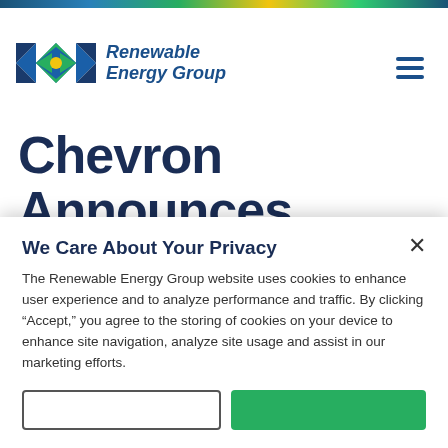[Figure (logo): Renewable Energy Group logo with diamond-shaped icon in blue, green, and yellow, and italic blue text reading 'Renewable Energy Group']
Chevron Announces Agreement to Acquire Renewable
We Care About Your Privacy
The Renewable Energy Group website uses cookies to enhance user experience and to analyze performance and traffic. By clicking "Accept," you agree to the storing of cookies on your device to enhance site navigation, analyze site usage and assist in our marketing efforts.